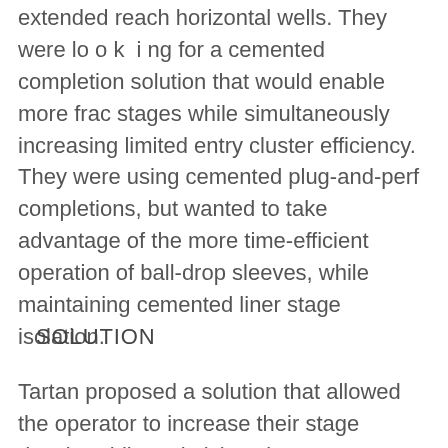extended reach horizontal wells. They were lo o k  i ng for a cemented completion solution that would enable more frac stages while simultaneously increasing limited entry cluster efficiency. They were using cemented plug-and-perf completions, but wanted to take advantage of the more time-efficient operation of ball-drop sleeves, while maintaining cemented liner stage isolation.
SOLUTION
Tartan proposed a solution that allowed the operator to increase their stage density while optimizing cluster